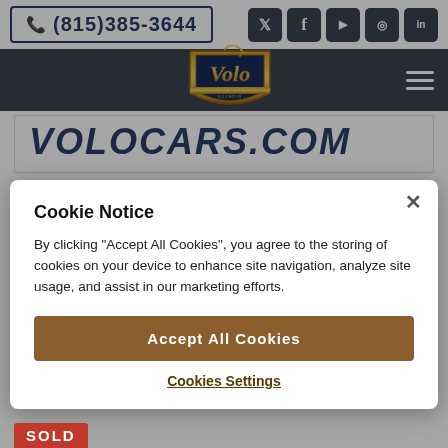(815)385-3644
[Figure (logo): Volo Auto Sales Illinois logo — gold cursive script on shield emblem]
VOLOCARS.COM
Cookie Notice
By clicking "Accept All Cookies", you agree to the storing of cookies on your device to enhance site navigation, analyze site usage, and assist in our marketing efforts.
Accept All Cookies
Cookies Settings
SOLD